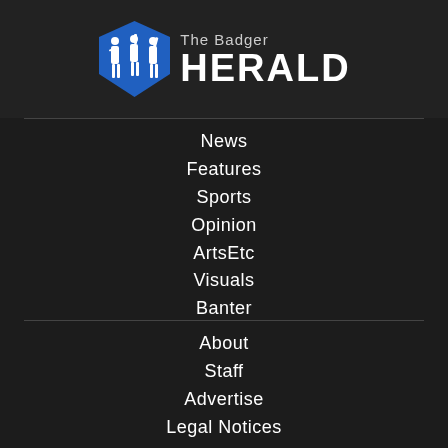[Figure (logo): The Badger Herald logo: blue pentagon/shield shape with white silhouettes of people holding signs, next to text 'The Badger HERALD']
News
Features
Sports
Opinion
ArtsEtc
Visuals
Banter
About
Staff
Advertise
Legal Notices
Newsletter